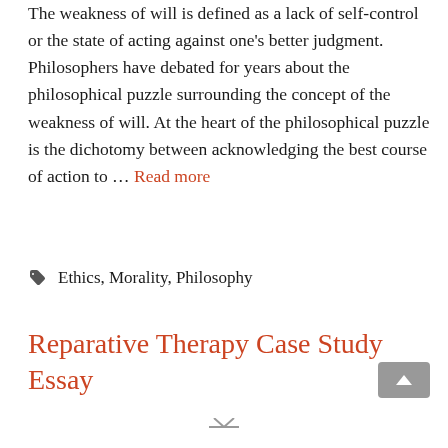The weakness of will is defined as a lack of self-control or the state of acting against one's better judgment. Philosophers have debated for years about the philosophical puzzle surrounding the concept of the weakness of will. At the heart of the philosophical puzzle is the dichotomy between acknowledging the best course of action to … Read more
Ethics, Morality, Philosophy
Reparative Therapy Case Study Essay